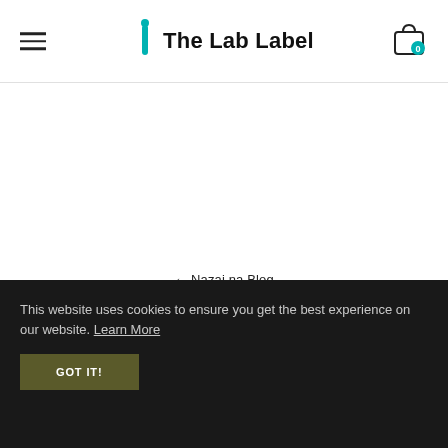The Lab Label
← Nazaj na Blog
This website uses cookies to ensure you get the best experience on our website. Learn More
GOT IT!